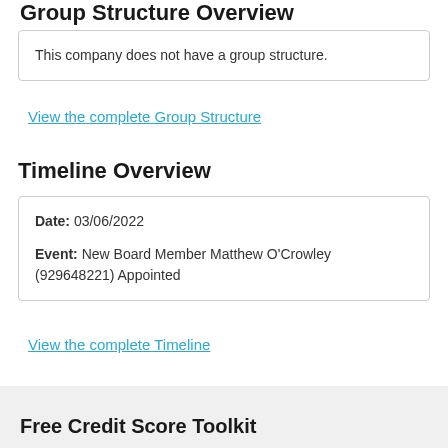Group Structure Overview
This company does not have a group structure.
View the complete Group Structure
Timeline Overview
Date: 03/06/2022

Event: New Board Member Matthew O'Crowley (929648221) Appointed
View the complete Timeline
Free Credit Score Toolkit